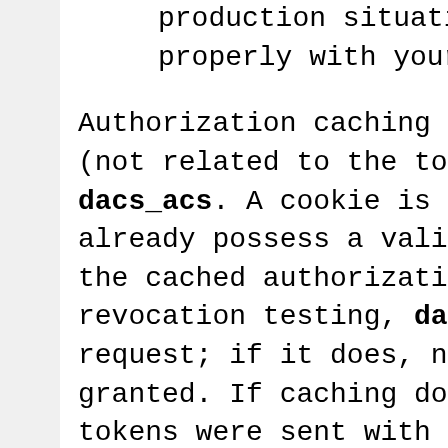production situations only after you properly with your access control ...
Authorization caching is implemented us (not related to the tokens used in auth dacs_acs. A cookie is returned to the u already possess a valid cookie. An acce the cached authorization, including the revocation testing, dacs_acs checks if request; if it does, no access control granted. If caching does not apply, pro tokens were sent with the request, dacs unsets the cookies). These cookies have
DACS:federation-name::jurisdiction-
Here, unique is the "dacs64" encoding ( strong pseudo-random 16 byte value. Als Since access control is purely a jurisd